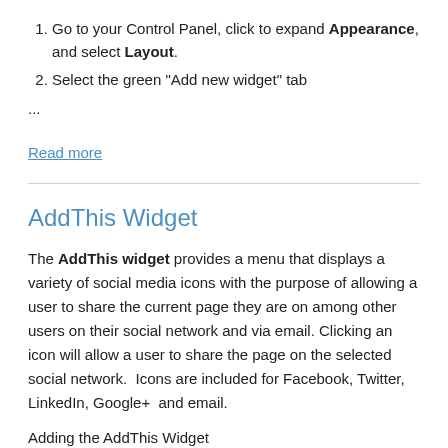Go to your Control Panel, click to expand Appearance, and select Layout.
Select the green "Add new widget" tab
...
Read more
AddThis Widget
The AddThis widget provides a menu that displays a variety of social media icons with the purpose of allowing a user to share the current page they are on among other users on their social network and via email. Clicking an icon will allow a user to share the page on the selected social network.  Icons are included for Facebook, Twitter, LinkedIn, Google+  and email.
Adding the AddThis Widget